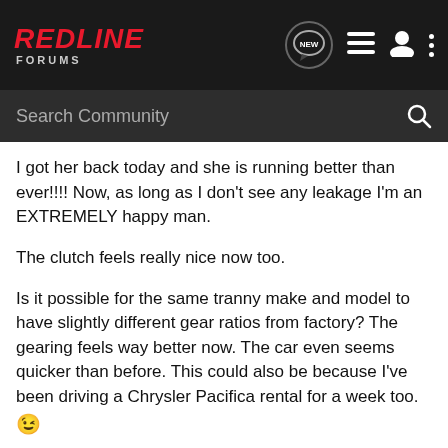RedLine Forums
I got her back today and she is running better than ever!!!! Now, as long as I don't see any leakage I'm an EXTREMELY happy man.
The clutch feels really nice now too.
Is it possible for the same tranny make and model to have slightly different gear ratios from factory? The gearing feels way better now. The car even seems quicker than before. This could also be because I've been driving a Chrysler Pacifica rental for a week too. 😉
Anyhow, it does feel a bit quicker, especially in first and second gear.